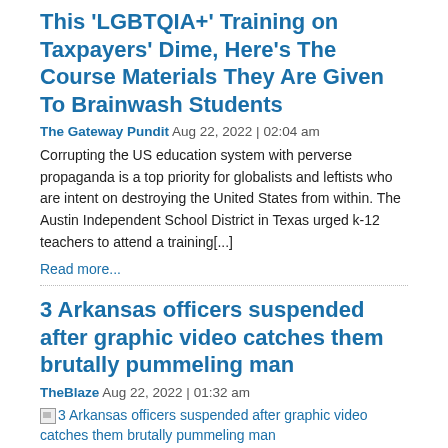This 'LGBTQIA+' Training on Taxpayers' Dime, Here's The Course Materials They Are Given To Brainwash Students
The Gateway Pundit Aug 22, 2022 | 02:04 am
Corrupting the US education system with perverse propaganda is a top priority for globalists and leftists who are intent on destroying the United States from within. The Austin Independent School District in Texas urged k-12 teachers to attend a training[...]
Read more...
3 Arkansas officers suspended after graphic video catches them brutally pummeling man
TheBlaze Aug 22, 2022 | 01:32 am
[Figure (other): Broken image placeholder with link text: 3 Arkansas officers suspended after graphic video catches them brutally pummeling man]
Three officers in Arkansas have been suspended after they were caught on video pummeling a man on the pavement. Two Crawford County Deputies and a Mulberry Police officer were suspended after a video exposed a disturbing and violent arrest at a[...]